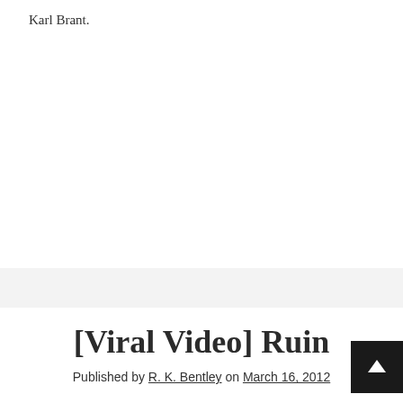Karl Brant.
[Viral Video] Ruin
Published by R. K. Bentley on March 16, 2012